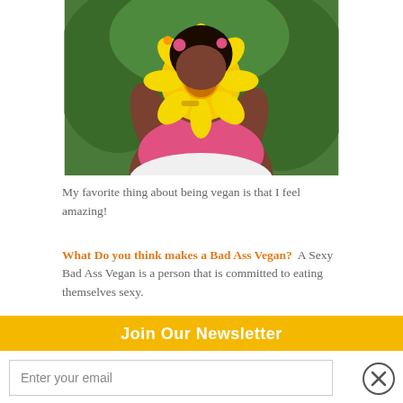[Figure (photo): A woman holding a large yellow flower in front of her face, wearing a pink top, with green foliage in the background.]
My favorite thing about being vegan is that I feel amazing!
What Do you think makes a Bad Ass Vegan?  A Sexy Bad Ass Vegan is a person that is committed to eating themselves sexy.
.What is the best vegan dish that you make in your kitchen?  My best vegan dish is usually create from what I have in my kitchen which varies with the season and country/state I am in. However, if I had to choose a dish I'd choose my Kale Salad Exotica as seen in my book Eat Yourself Sexy. I won the National Farm to School cooking competition for
Join Our Newsletter
Enter your email